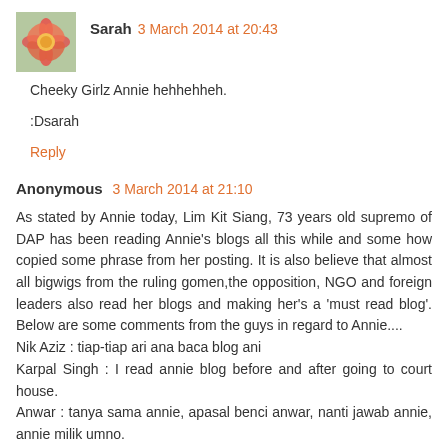[Figure (photo): Small avatar image of a flower, reddish-pink tones]
Sarah 3 March 2014 at 20:43
Cheeky Girlz Annie hehhehheh.

:Dsarah
Reply
Anonymous 3 March 2014 at 21:10
As stated by Annie today, Lim Kit Siang, 73 years old supremo of DAP has been reading Annie's blogs all this while and some how copied some phrase from her posting. It is also believe that almost all bigwigs from the ruling gomen,the opposition, NGO and foreign leaders also read her blogs and making her's a 'must read blog'. Below are some comments from the guys in regard to Annie's....
Nik Aziz : tiap-tiap ari ana baca blog ani
Karpal Singh : I read annie blog before and after going to court house.
Anwar : tanya sama annie, apasal benci anwar, nanti jawab annie, annie milik umno.